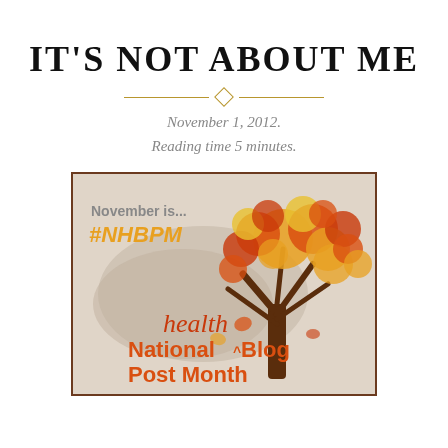IT'S NOT ABOUT ME
November 1, 2012.
Reading time 5 minutes.
[Figure (illustration): NHBPM illustration: autumn tree with orange and red maple leaves, text reading 'November is... #NHBPM' in orange bold, and 'health National^Blog Post Month' below on a beige/grey brushstroke background]